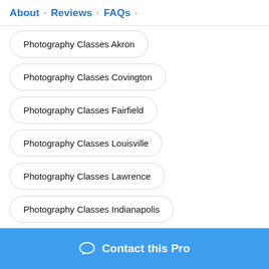About · Reviews · FAQs ·
Photography Classes Akron
Photography Classes Covington
Photography Classes Fairfield
Photography Classes Louisville
Photography Classes Lawrence
Photography Classes Indianapolis
Photography Classes Fishers
Contact this Pro